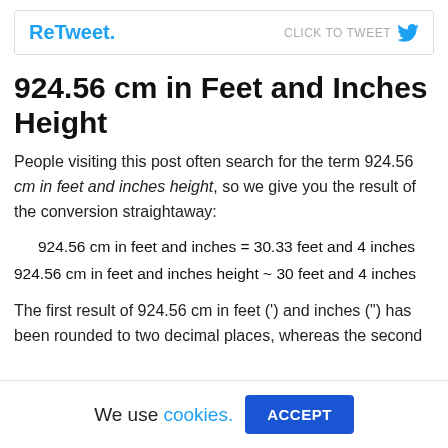[Figure (screenshot): ReTweet. CLICK TO TWEET button with Twitter bird icon]
924.56 cm in Feet and Inches Height
People visiting this post often search for the term 924.56 cm in feet and inches height, so we give you the result of the conversion straightaway:
924.56 cm in feet and inches = 30.33 feet and 4 inches
924.56 cm in feet and inches height ~ 30 feet and 4 inches
The first result of 924.56 cm in feet (’) and inches (”) has been rounded to two decimal places, whereas the second
We use cookies. ACCEPT